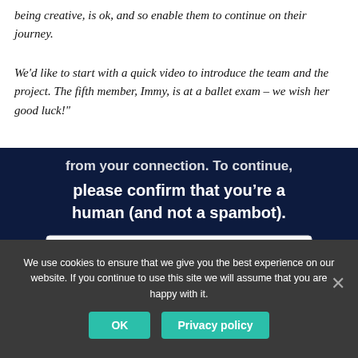being creative, is ok, and so enable them to continue on their journey.
We'd like to start with a quick video to introduce the team and the project. The fifth member, Immy, is at a ballet exam – we wish her good luck!"
[Figure (screenshot): Screenshot of a website CAPTCHA overlay with dark navy background. Text reads 'from your connection. To continue, please confirm that you’re a human (and not a spambot).' with a reCAPTCHA widget below containing a checkbox labeled 'I'm not a robot' and the reCAPTCHA logo with Privacy and Terms links.]
We use cookies to ensure that we give you the best experience on our website. If you continue to use this site we will assume that you are happy with it.
OK
Privacy policy